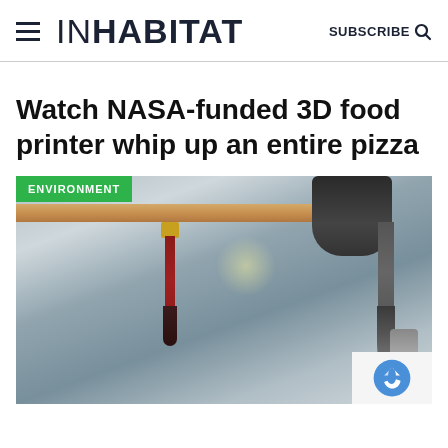INHABITAT | SUBSCRIBE
Watch NASA-funded 3D food printer whip up an entire pizza
[Figure (photo): Close-up photo of a 3D food printer in operation, showing mechanical arms and nozzles with extruded food material. A green 'ENVIRONMENT' tag is overlaid on the top-left corner of the image.]